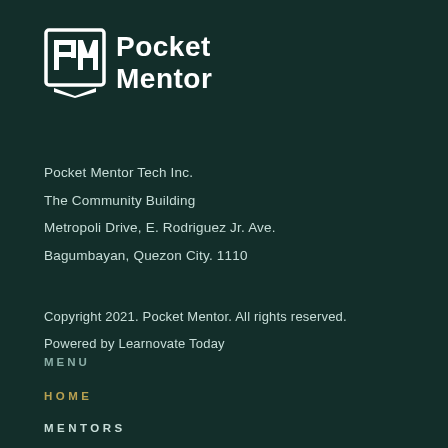[Figure (logo): Pocket Mentor logo with stylized PM icon and text 'Pocket Mentor']
Pocket Mentor Tech Inc.
The Community Building
Metropoli Drive, E. Rodriguez Jr. Ave.
Bagumbayan, Quezon City. 1110
Copyright 2021. Pocket Mentor. All rights reserved.
Powered by Learnovate Today
MENU
HOME
MENTORS